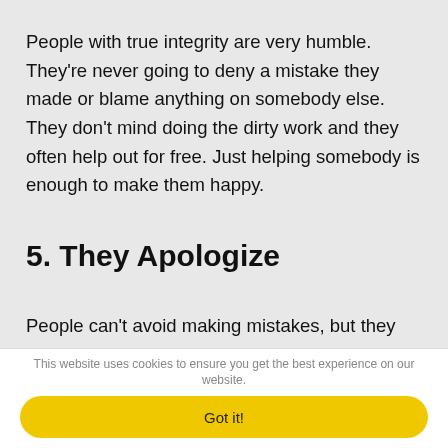People with true integrity are very humble. They're never going to deny a mistake they made or blame anything on somebody else. They don't mind doing the dirty work and they often help out for free. Just helping somebody is enough to make them happy.
5. They Apologize
People can't avoid making mistakes, but they can fix them. We all mess up now and then, but our egos tell us we do
This website uses cookies to ensure you get the best experience on our website.
Got it!